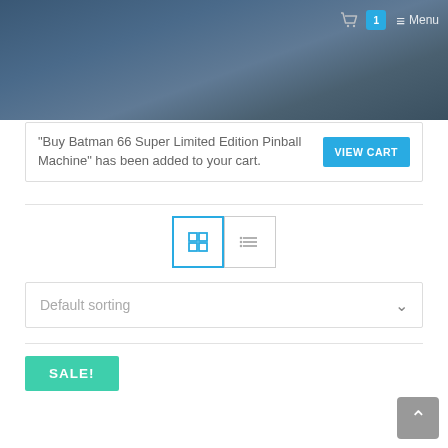[Figure (screenshot): Hero/banner image showing a blurred background scene with blue tones, navigation icons (cart with badge '1' and Menu) in top right]
"Buy Batman 66 Super Limited Edition Pinball Machine" has been added to your cart.
VIEW CART
[Figure (other): Grid view toggle button (active, blue border with 4-square icon) and list view toggle button (inactive, lines icon)]
Default sorting
SALE!